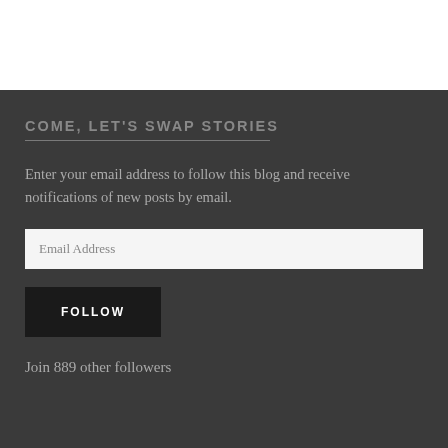COME, LET'S SWAP STORIES
Enter your email address to follow this blog and receive notifications of new posts by email.
Email Address
FOLLOW
Join 889 other followers